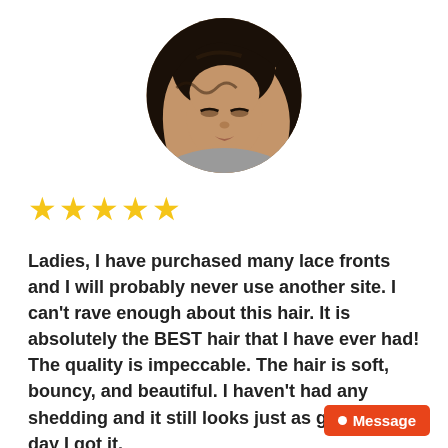[Figure (photo): Circular profile photo of a young woman with dark wavy hair, looking downward, wearing a grey top.]
★★★★★
Ladies, I have purchased many lace fronts and I will probably never use another site. I can't rave enough about this hair. It is absolutely the BEST hair that I have ever had! The quality is impeccable. The hair is soft, bouncy, and beautiful. I haven't had any shedding and it still looks just as good as the day I got it.
● Message